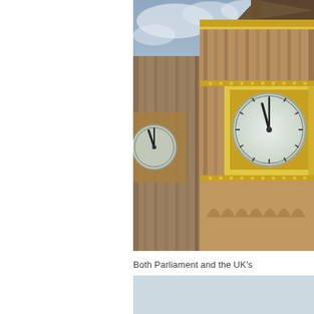[Figure (photo): Close-up photograph of Big Ben (Elizabeth Tower) in London, showing the clock face with gold ornamental surround, the upper tower structure, and a partly cloudy blue-grey sky in the background.]
Both Parliament and the UK's financial district are located in the capital